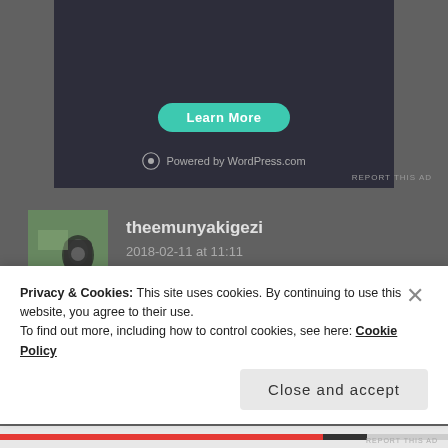[Figure (screenshot): WordPress.com ad banner with teal 'Learn More' button and 'Powered by WordPress.com' text on dark background]
REPORT THIS AD
theemunyakigezi
2018-02-11 at 11:11
https://theemunyakigezi.wordpress.com
★ Like
Log in to Reply
Privacy & Cookies: This site uses cookies. By continuing to use this website, you agree to their use.
To find out more, including how to control cookies, see here: Cookie Policy
Close and accept